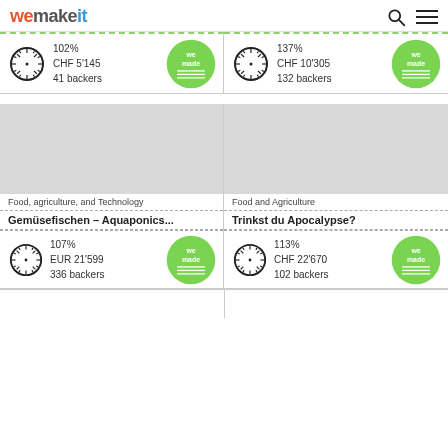wemakeit
[Figure (screenshot): Crowdfunding card stats: 102%, CHF 5145, 41 backers, we made badge]
[Figure (screenshot): Crowdfunding card stats: 137%, CHF 10305, 132 backers, we made badge]
[Figure (photo): Grey placeholder image for project card left]
[Figure (photo): Grey placeholder image for project card right]
Food, agriculture, and Technology
Food and Agriculture
Gemüsefischen – Aquaponics...
Trinkst du Apocalypse?
[Figure (screenshot): Crowdfunding card stats: 107%, EUR 21599, 336 backers, we made badge]
[Figure (screenshot): Crowdfunding card stats: 113%, CHF 22670, 102 backers, we made badge]